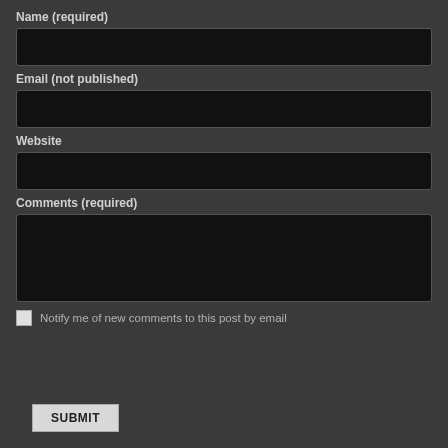Name (required)
[Figure (screenshot): Text input field for Name, dark background]
Email (not published)
[Figure (screenshot): Text input field for Email, dark background]
Website
[Figure (screenshot): Text input field for Website, dark background]
Comments (required)
[Figure (screenshot): Textarea input field for Comments, dark background]
Notify me of new comments to this post by email
SUBMIT